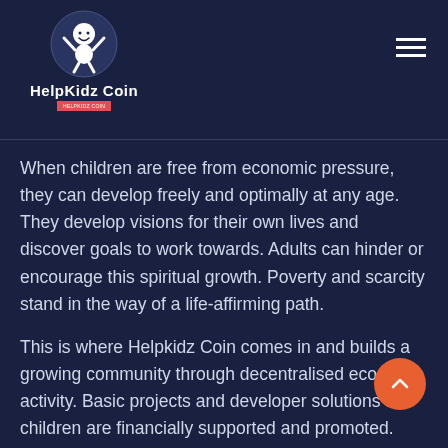[Figure (logo): HelpKidz Coin logo: circular icon with cartoon baby figure and arms raised, white on dark background, with bold text 'HelpKidz Coin' below and a red tagline bar]
When children are free from economic pressure, they can develop freely and optimally at any age. They develop visions for their own lives and discover goals to work towards. Adults can hinder or encourage this spiritual growth. Poverty and scarcity stand in the way of a life-affirming path.
This is where Helpkidz Coin comes in and builds a growing community through decentralised economic activity. Basic projects and developer solutions for children are financially supported and promoted. When a coin is purchased, a share of one percent is transferred to